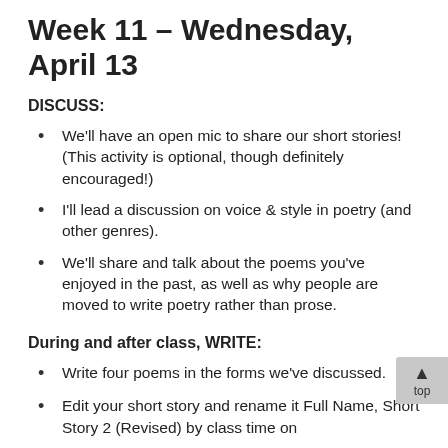Week 11 – Wednesday, April 13
DISCUSS:
We'll have an open mic to share our short stories! (This activity is optional, though definitely encouraged!)
I'll lead a discussion on voice & style in poetry (and other genres).
We'll share and talk about the poems you've enjoyed in the past, as well as why people are moved to write poetry rather than prose.
During and after class, WRITE:
Write four poems in the forms we've discussed.
Edit your short story and rename it Full Name, Short Story 2 (Revised) by class time on